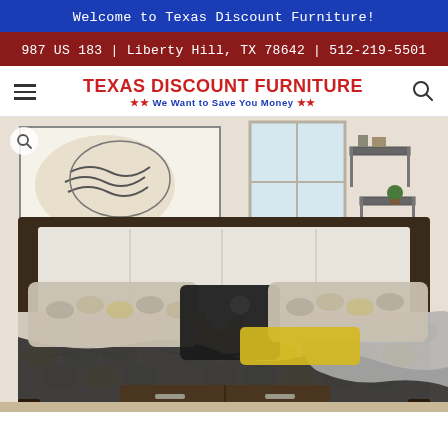Welcome to Texas Discount Furniture!
987 US 183 | Liberty Hill, TX 78642 | 512-219-5501
TEXAS DISCOUNT FURNITURE ★★ We Want to Save You Money ★★
[Figure (photo): Product photo of a dark wood king bed with upholstered white/cream headboard, patterned bedding in grey, white, and yellow, decorative pillows, and storage drawers in the footboard. Bedroom setting with zebra artwork and wall-mounted shelves visible in background.]